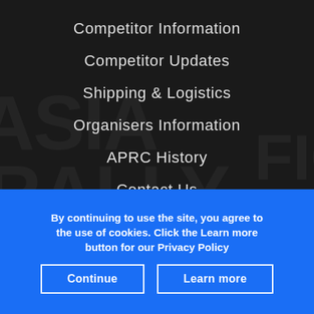Competitor Information
Competitor Updates
Shipping & Logistics
Organisers Information
APRC History
Contact Us
Privacy
2022 Asia Cup Points
By continuing to use the site, you agree to the use of cookies. Click the Learn more button for our Privacy Policy
Continue
Learn more
X